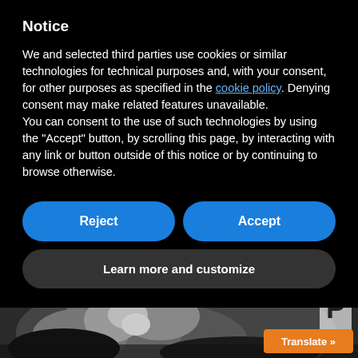Notice
We and selected third parties use cookies or similar technologies for technical purposes and, with your consent, for other purposes as specified in the cookie policy. Denying consent may make related features unavailable.
You can consent to the use of such technologies by using the "Accept" button, by scrolling this page, by interacting with any link or button outside of this notice or by continuing to browse otherwise.
Reject
Accept
Learn more and customize
[Figure (photo): Grayscale photograph of a newborn or infant in a medical setting, partially visible at the bottom of the page. A 'Translate »' orange button is visible in the bottom-right corner.]